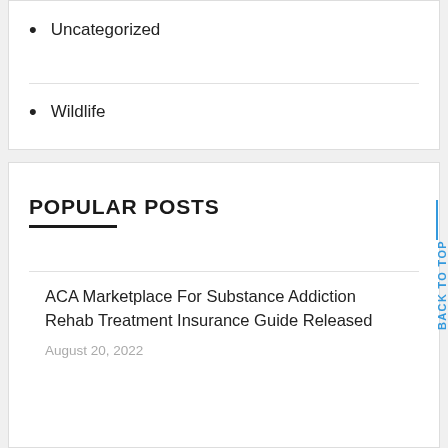Uncategorized
Wildlife
POPULAR POSTS
ACA Marketplace For Substance Addiction Rehab Treatment Insurance Guide Released
August 20, 2022
Gilbert, AZ Workers'